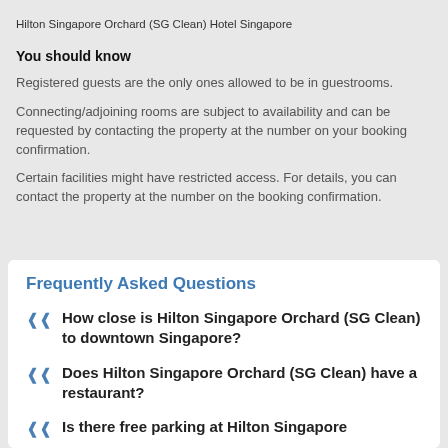Hilton Singapore Orchard (SG Clean) Hotel Singapore
You should know
Registered guests are the only ones allowed to be in guestrooms.
Connecting/adjoining rooms are subject to availability and can be requested by contacting the property at the number on your booking confirmation.
Certain facilities might have restricted access. For details, you can contact the property at the number on the booking confirmation.
Frequently Asked Questions
How close is Hilton Singapore Orchard (SG Clean) to downtown Singapore?
Does Hilton Singapore Orchard (SG Clean) have a restaurant?
Is there free parking at Hilton Singapore